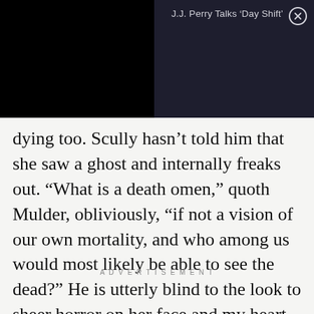[Figure (screenshot): Advertisement banner overlay with dark navy/black background. Left half is solid black, right half is dark navy (#1e1e2e) with text 'J.J. Perry Talks ‘Day Shift’' and a close button (circled X) in the top-right corner.]
dying too. Scully hasn’t told him that she saw a ghost and internally freaks out. “What is a death omen,” quoth Mulder, obliviously, “if not a vision of our own mortality, and who among us would most likely be able to see the dead?” He is utterly blind to the look to sheer horror on her face and my heart has shredded itself into bits.
ADVERTISEMENT